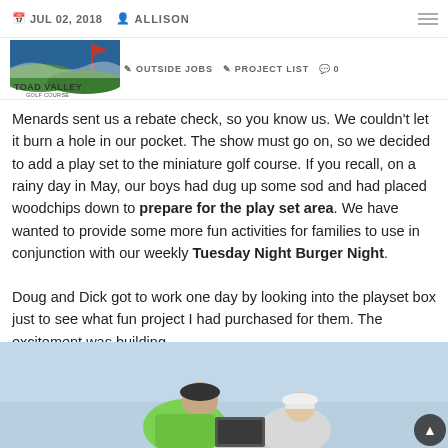JUL 02, 2018  ALLISON
OUTSIDE JOBS  PROJECT LIST  0
[Figure (logo): Toad Valley Golf Course logo with green hills and red flag]
Menards sent us a rebate check, so you know us.  We couldn't let it burn a hole in our pocket.  The show must go on, so we decided to add a play set to the miniature golf course.  If you recall, on a rainy day in May, our boys had dug up some sod and had placed woodchips down to prepare for the play set area.  We have wanted to provide some more fun activities for families to use in conjunction with our weekly Tuesday Night Burger Night.
Doug and Dick got to work one day by looking into the playset box just to see what fun project I had purchased for them.  The excitement was building.
[Figure (photo): Two workers (one in bright green shirt, one in white) looking into a box, blue sky background]